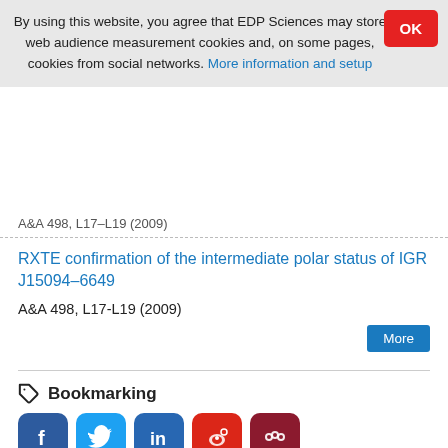By using this website, you agree that EDP Sciences may store web audience measurement cookies and, on some pages, cookies from social networks. More information and setup
A&A 498, L17-L19 (2009)
RXTE confirmation of the intermediate polar status of IGR J15094–6649
A&A 498, L17-L19 (2009)
Bookmarking
Reader's services
Email-alert